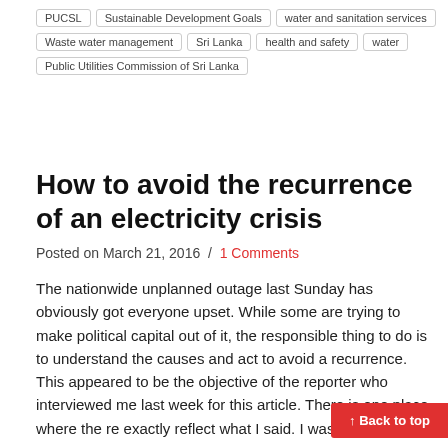PUCSL
Sustainable Development Goals
water and sanitation services
Waste water management
Sri Lanka
health and safety
water
Public Utilities Commission of Sri Lanka
How to avoid the recurrence of an electricity crisis
Posted on March 21, 2016  /  1 Comments
The nationwide unplanned outage last Sunday has obviously got everyone upset. While some are trying to make political capital out of it, the responsible thing to do is to understand the causes and act to avoid a recurrence. This appeared to be the objective of the reporter who interviewed me last week for this article. There is one place where the re exactly reflect what I said. I was asked whethe
↑ Back to top